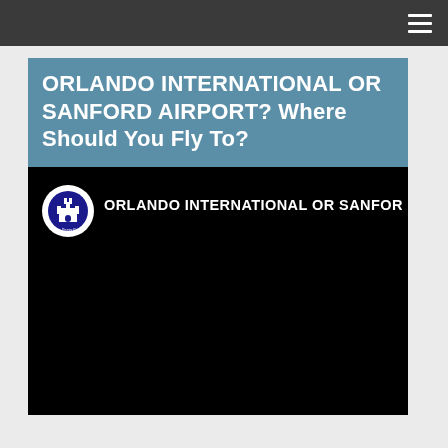≡
ORLANDO INTERNATIONAL OR SANFORD AIRPORT? Where Should You Fly To?
[Figure (screenshot): Video thumbnail showing a dark/black background with a circular white Disney logo (castle icon with 'The Disney Price' text) on the left and the text 'ORLANDO INTERNATIONAL OR SANFOR' in white on the right, against a black background.]